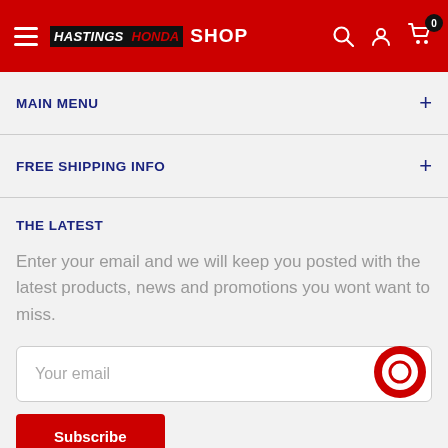HASTINGS HONDA SHOP — navigation header with search, account, cart (0)
MAIN MENU
FREE SHIPPING INFO
THE LATEST
Enter your email and we will keep you posted with the latest products, news and promotions you wont want to miss.
Your email
Subscribe